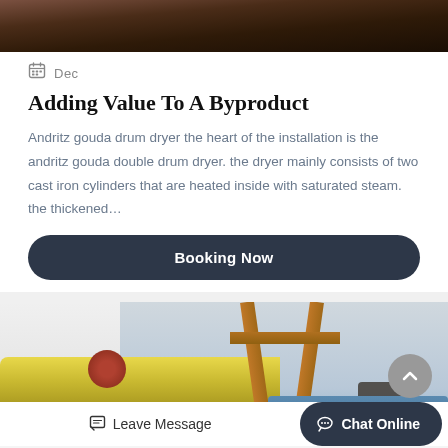[Figure (photo): Dark brown/rust colored industrial material or surface, top banner image]
Dec
Adding Value To A Byproduct
Andritz gouda drum dryer the heart of the installation is the andritz gouda double drum dryer. the dryer mainly consists of two cast iron cylinders that are heated inside with saturated steam. the thickened…
Booking Now
[Figure (photo): Industrial equipment photo showing yellow cylindrical pipes/drums, wooden tripod structure, and machinery outdoors with blue background]
Leave Message
Chat Online